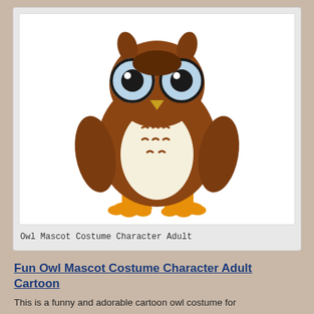[Figure (photo): An adult wearing a cartoon owl mascot costume, full body, standing upright. The costume features large blue eyes, brown body, cream/white round belly with brown feather markings, orange bird feet, and stubby wings.]
Owl Mascot Costume Character Adult
Fun Owl Mascot Costume Character Adult Cartoon
This is a funny and adorable cartoon owl costume for